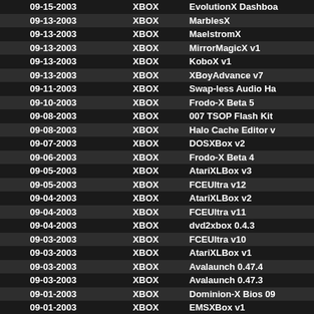| Date | Platform | Name |
| --- | --- | --- |
| 09-15-2003 | XBOX | EvolutionX Dashboa… |
| 09-13-2003 | XBOX | MarblesX |
| 09-13-2003 | XBOX | MaelstromX |
| 09-13-2003 | XBOX | MirrorMagicX v1 |
| 09-13-2003 | XBOX | KoboX v1 |
| 09-13-2003 | XBOX | XBoyAdvance v7 |
| 09-11-2003 | XBOX | Swap-less Audio Ha… |
| 09-10-2003 | XBOX | Frodo-X Beta 5 |
| 09-08-2003 | XBOX | 007 TSOP Flash Kit |
| 09-08-2003 | XBOX | Halo Cache Editor v… |
| 09-07-2003 | XBOX | DOSXBox v2 |
| 09-06-2003 | XBOX | Frodo-X Beta 4 |
| 09-05-2003 | XBOX | AtariXLBox v3 |
| 09-05-2003 | XBOX | FCEUltra v12 |
| 09-04-2003 | XBOX | AtariXLBox v2 |
| 09-04-2003 | XBOX | FCEUltra v11 |
| 09-04-2003 | XBOX | dvd2xbox 0.4.3 |
| 09-03-2003 | XBOX | FCEUltra v10 |
| 09-03-2003 | XBOX | AtariXLBox v1 |
| 09-03-2003 | XBOX | Avalaunch 0.47.4 |
| 09-03-2003 | XBOX | Avalaunch 0.47.3 |
| 09-01-2003 | XBOX | Dominion-X Bios 09… |
| 09-01-2003 | XBOX | EMSXBox v1… |